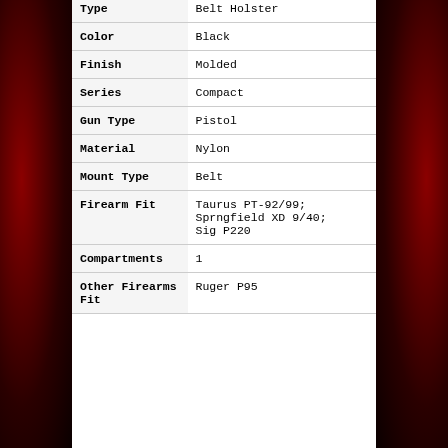| Attribute | Value |
| --- | --- |
| Type | Belt Holster |
| Color | Black |
| Finish | Molded |
| Series | Compact |
| Gun Type | Pistol |
| Material | Nylon |
| Mount Type | Belt |
| Firearm Fit | Taurus PT-92/99; Sprngfield XD 9/40; Sig P220 |
| Compartments | 1 |
| Other Firearms Fit | Ruger P95 |